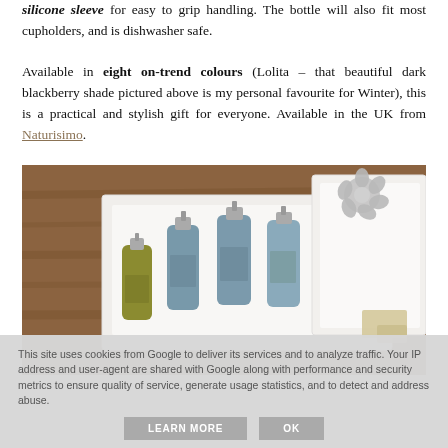silicone sleeve for easy to grip handling. The bottle will also fit most cupholders, and is dishwasher safe.
Available in eight on-trend colours (Lolita – that beautiful dark blackberry shade pictured above is my personal favourite for Winter), this is a practical and stylish gift for everyone. Available in the UK from Naturisimo.
[Figure (photo): Photo of skincare product gift set with multiple small spray bottles in a white box, placed on a wooden surface with decorative silver flower ornament in background]
This site uses cookies from Google to deliver its services and to analyze traffic. Your IP address and user-agent are shared with Google along with performance and security metrics to ensure quality of service, generate usage statistics, and to detect and address abuse.